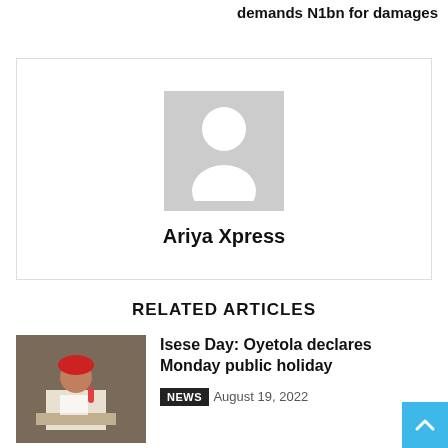demands N1bn for damages
[Figure (illustration): Author placeholder card with default avatar silhouette and name 'Ariya Xpress']
RELATED ARTICLES
[Figure (photo): Photo of a man in red headgear speaking at a podium with a microphone]
Isese Day: Oyetola declares Monday public holiday
NEWS  August 19, 2022